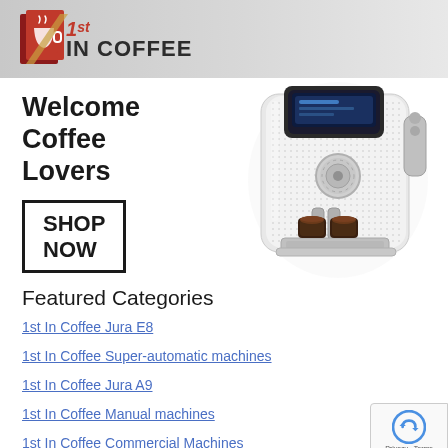[Figure (logo): 1st In Coffee logo with coffee cup icon and text '1st IN COFFEE' on a grey gradient banner]
[Figure (illustration): Hero banner showing 'Welcome Coffee Lovers' heading, a SHOP NOW button with border, and a white Jura automatic espresso machine with two coffee cups]
Featured Categories
1st In Coffee Jura E8
1st In Coffee Super-automatic machines
1st In Coffee Jura A9
1st In Coffee Manual machines
1st In Coffee Commercial Machines